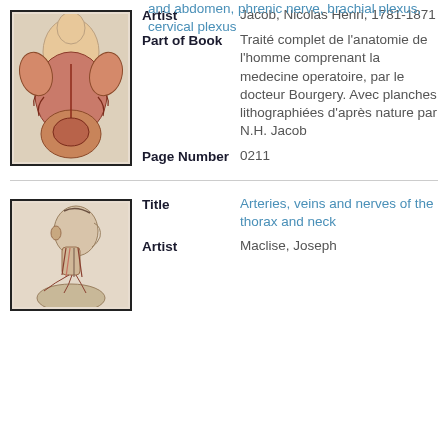[Figure (illustration): Anatomical illustration of human torso showing muscles, organs, chest and abdomen, phrenic nerve, brachial plexus]
Artist: Jacob, Nicolas Henri, 1781-1871
Part of Book: Traité complet de l'anatomie de l'homme comprenant la medecine operatoire, par le docteur Bourgery. Avec planches lithographiées d'après nature par N.H. Jacob
Page Number: 0211
[Figure (illustration): Anatomical illustration of arteries, veins and nerves of the thorax and neck, side profile view of head and neck]
Title: Arteries, veins and nerves of the thorax and neck
Artist: Maclise, Joseph